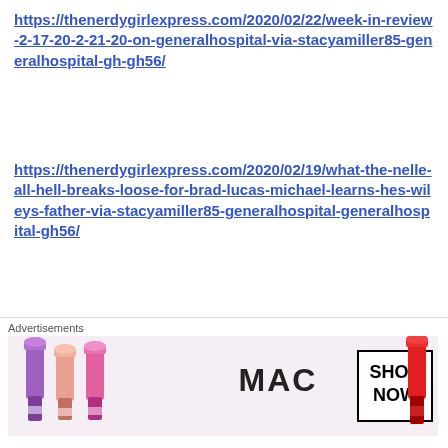https://thenerdygirlexpress.com/2020/02/22/week-in-review-2-17-20-2-21-20-on-generalhospital-via-stacyamiller85-generalhospital-gh-gh56/
https://thenerdygirlexpress.com/2020/02/19/what-the-nelle-all-hell-breaks-loose-for-brad-lucas-michael-learns-hes-wileys-father-via-stacyamiller85-generalhospital-generalhospital-gh56/
https://thenerdygirlexpress.com/2020/02/15/week-in-review-2-10-20-2-13-20-on-generalhospital-via-stacyamiller85-generalhospital-gh-gh56/
https://thenerdygirlexpress.com/2020/02/08/week-in-review-2-3-20-2-7-20-on-generalhospital-via-
Advertisements
[Figure (photo): MAC Cosmetics advertisement showing lipsticks in purple, pink, and red with MAC logo and SHOP NOW button]